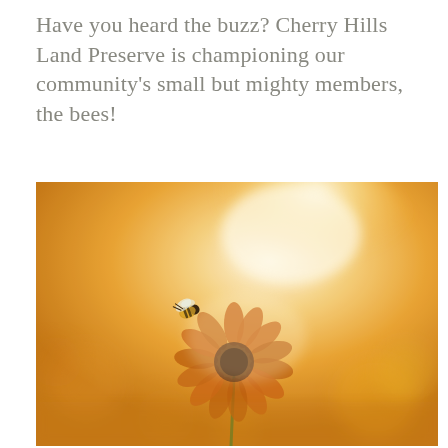Have you heard the buzz? Cherry Hills Land Preserve is championing our community's small but mighty members, the bees!
[Figure (photo): A bee hovering near a yellow sunflower-like bloom in warm golden backlighting, with bokeh yellow flowers in the background.]